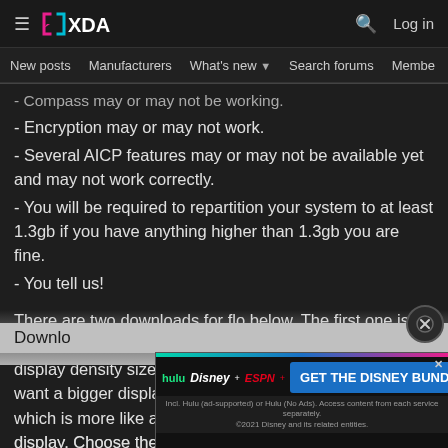XDA - Log in | New posts | Manufacturers | What's new | Search forums | Members
- Compass may or may not be working.
- Encryption may or may not work.
- Several AICP features may or may not be available yet and may not work correctly.
- You will be required to repartition your system to at least 1.3gb if you have anything higher than 1.3gb you are fine.
- You tell us!
There are two downloads for flo below. The first one is the stock 320 DPI build for those that want the stock display density size. The second one is for those who want a bigger display density and its set at 480 DPI which is more like a phone display rather than the tablet display. Choose the one that suits your needs!
Download
[Figure (screenshot): Disney Bundle advertisement banner with Hulu, Disney+, ESPN+ logos and GET THE DISNEY BUNDLE call-to-action button]